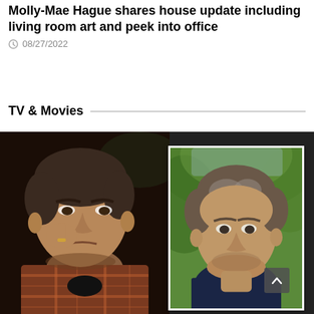Molly-Mae Hague shares house update including living room art and peek into office
08/27/2022
TV & Movies
[Figure (photo): Composite photo: on the left, a man in a plaid shirt resting his hand near his face in a dark moody interior setting; on the right, a framed photo of a middle-aged man with grey hair outdoors with green foliage in the background. A grey back/up arrow button appears at the bottom right of the right-hand photo.]